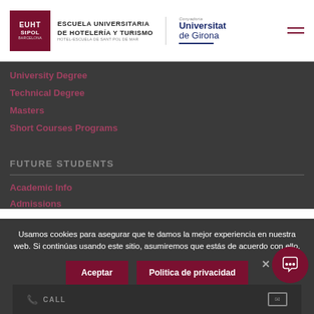EUHT StPOL - ESCUELA UNIVERSITARIA DE HOTELERÍA Y TURISMO / Universitat de Girona
University Degree
Technical Degree
Masters
Short Courses Programs
FUTURE STUDENTS
Academic Info
Admissions
Usamos cookies para asegurar que te damos la mejor experiencia en nuestra web. Si continúas usando este sitio, asumiremos que estás de acuerdo con ello.
Aceptar | Politica de privacidad